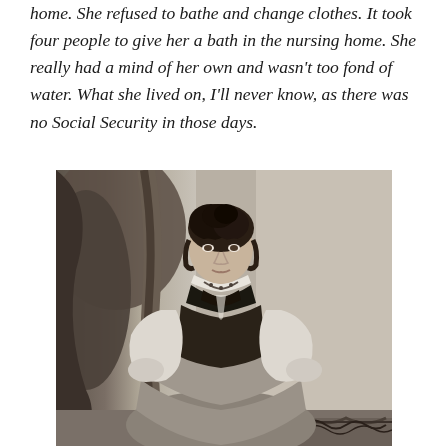home. She refused to bathe and change clothes. It took four people to give her a bath in the nursing home. She really had a mind of her own and wasn't too fond of water. What she lived on, I'll never know, as there was no Social Security in those days.
[Figure (photo): Black and white portrait photograph of a woman in Victorian-era dress. She has dark hair pinned up, wears a dark vest/bodice over a white blouse, and a necklace. She is seated and looking at the camera. The background shows a painted studio backdrop.]